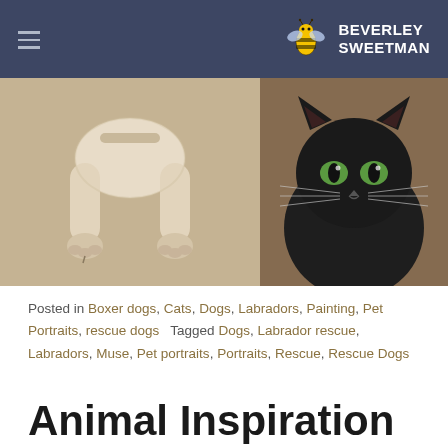BEVERLEY SWEETMAN
[Figure (photo): Two pet photos side by side: left shows a white/cream Labrador dog lying down with paws visible from above on beige carpet; right shows a close-up of a black cat with green eyes]
Posted in Boxer dogs, Cats, Dogs, Labradors, Painting, Pet Portraits, rescue dogs   Tagged Dogs, Labrador rescue, Labradors, Muse, Pet portraits, Portraits, Rescue, Rescue Dogs
Animal Inspiration